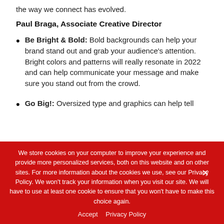the way we connect has evolved.
Paul Braga, Associate Creative Director
Be Bright & Bold: Bold backgrounds can help your brand stand out and grab your audience's attention. Bright colors and patterns will really resonate in 2022 and can help communicate your message and make sure you stand out from the crowd.
Go Big!: Oversized type and graphics can help tell
We store cookies on your computer to improve your experience and provide more personalized services, both on this website and on other sites. For more information about the cookies we use, see our Privacy Policy. We won't track your information when you visit our site. We will have to use at least one cookie to ensure that you won't have to make this choice again.
Accept   Privacy Policy